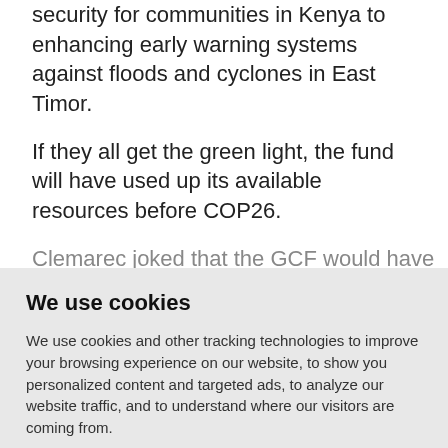security for communities in Kenya to enhancing early warning systems against floods and cyclones in East Timor.
If they all get the green light, the fund will have used up its available resources before COP26.
Clemarec joked that the GCF would have
We use cookies
We use cookies and other tracking technologies to improve your browsing experience on our website, to show you personalized content and targeted ads, to analyze our website traffic, and to understand where our visitors are coming from.